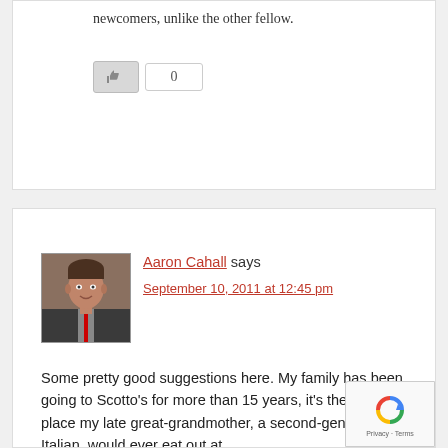newcomers, unlike the other fellow.
[Figure (other): Like button with count 0]
[Figure (photo): Avatar photo of Aaron Cahall, a man in a suit]
Aaron Cahall says
September 10, 2011 at 12:45 pm
Some pretty good suggestions here. My family has been going to Scotto's for more than 15 years, it's the only Italian place my late great-grandmother, a second-generation Italian, would ever eat out at.